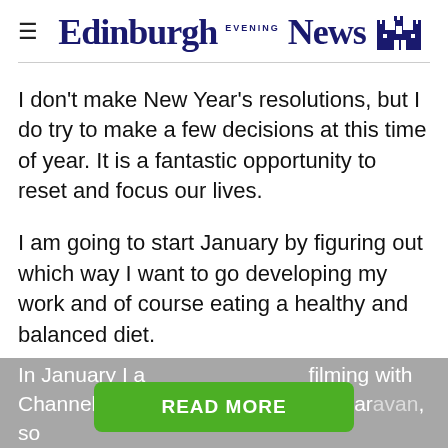≡ Edinburgh Evening News
I don't make New Year's resolutions, but I do try to make a few decisions at this time of year. It is a fantastic opportunity to reset and focus our lives.
I am going to start January by figuring out which way I want to go developing my work and of course eating a healthy and balanced diet.
In January I a... filming with Channel 5, this time cooking in my caravan, so